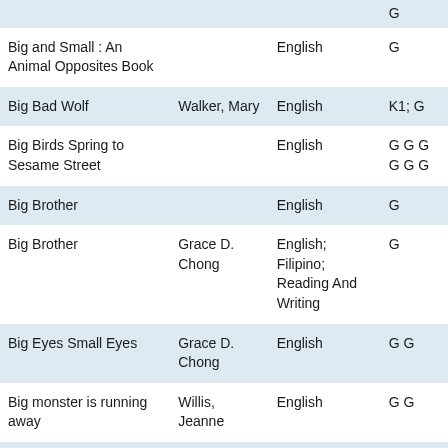| Title | Author | Language |  |
| --- | --- | --- | --- |
|  |  |  | G |
| Big and Small : An Animal Opposites Book |  | English | G |
| Big Bad Wolf | Walker, Mary | English | K1; G |
| Big Birds Spring to Sesame Street |  | English | G G G G G G |
| Big Brother |  | English | G |
| Big Brother | Grace D. Chong | English; Filipino; Reading And Writing | G |
| Big Eyes Small Eyes | Grace D. Chong | English | G G |
| Big monster is running away | Willis, Jeanne | English | G G |
| Big Moonster is Running Away | Jean Willis | English | G |